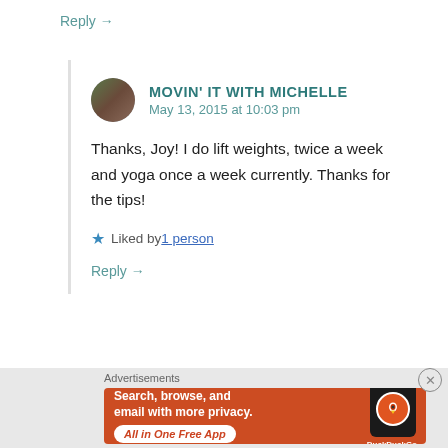Reply →
MOVIN' IT WITH MICHELLE
May 13, 2015 at 10:03 pm
Thanks, Joy! I do lift weights, twice a week and yoga once a week currently. Thanks for the tips!
★ Liked by 1 person
Reply →
Advertisements
[Figure (infographic): DuckDuckGo advertisement banner with orange background, showing 'Search, browse, and email with more privacy. All in One Free App' text and DuckDuckGo app icon on a phone graphic]